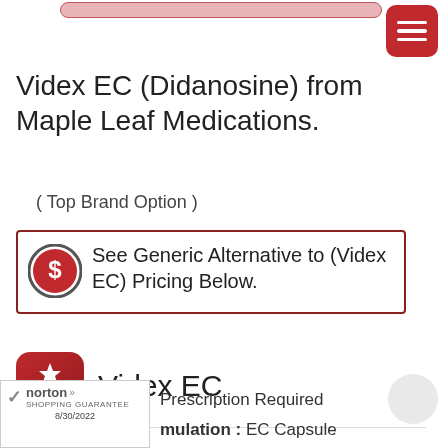[Figure (other): Red rounded rectangle search bar at top]
[Figure (other): Red hamburger menu button top right]
Videx EC (Didanosine) from Maple Leaf Medications.
( Top Brand Option )
See Generic Alternative to (Videx EC) Pricing Below.
[Figure (logo): Red rounded square with maple leaf icon labeled Brand]
Videx EC
Prescription Required
Formulation : EC Capsule
[Figure (logo): Norton Shopping Guarantee badge dated 8/30/2022]